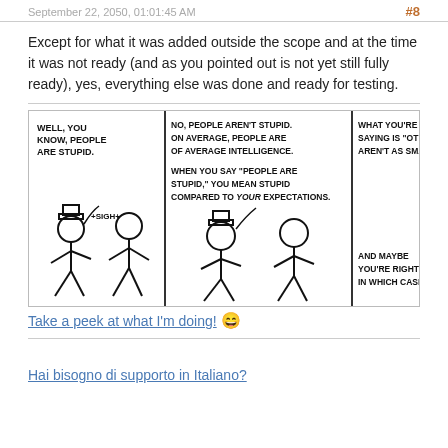#8
Except for what it was added outside the scope and at the time it was not ready (and as you pointed out is not yet still fully ready), yes, everything else was done and ready for testing.
[Figure (illustration): XKCD-style comic strip showing stick figures discussing intelligence. Panel 1: character says 'Well, you know, people are stupid.' with +sigh+. Panel 2: another character responds 'No, people aren't stupid. On average, people are of average intelligence. When you say people are stupid, you mean stupid compared to YOUR expectations.' Panel 3: 'What you're really saying is other people aren't as smart as me. And maybe you're right! In which case...' Panel 4 (partially visible): 'I'd li... E... BE... MAY Y OUR IN...']
Take a peek at what I'm doing! 😄
Hai bisogno di supporto in Italiano?